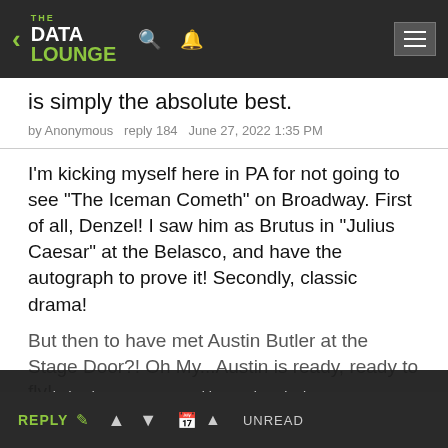THE DATA LOUNGE
is simply the absolute best.
by Anonymous   reply 184   June 27, 2022 1:35 PM
I'm kicking myself here in PA for not going to see "The Iceman Cometh" on Broadway. First of all, Denzel! I saw him as Brutus in "Julius Caesar" at the Belasco, and have the autograph to prove it! Secondly, classic drama!
But then to have met Austin Butler at the Stage Door?! Oh My...Austin is ready, ready to fly!
Yes indeed, we too use "cookies." Take a look at our privacy/terms or if you just want to see the damn site without all this bureaucratic nonsense, click ACCEPT. Otherwise, you'll just have to find some other site for your pointless bitchery needs.
REPLY  ▲  ▼  UNREAD